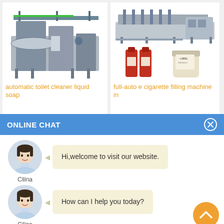[Figure (photo): Product card showing automatic toilet cleaner liquid soap machine - industrial filling machine photo]
automatic toilet cleaner liquid soap
[Figure (photo): Product card showing full-auto e cigarette filling machine with sauce bottles and jar - industrial filling machine and product photos]
full-auto e cigarette filling machine in
ONLINE CHAT
[Figure (photo): Avatar photo of female customer service representative named Cilina]
Cilina
Hi,welcome to visit our website.
[Figure (photo): Avatar photo of female customer service representative named Cilina]
Cilina
How can I help you today?